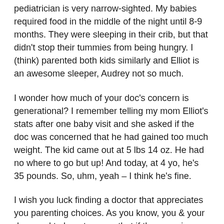pediatrician is very narrow-sighted. My babies required food in the middle of the night until 8-9 months. They were sleeping in their crib, but that didn't stop their tummies from being hungry. I (think) parented both kids similarly and Elliot is an awesome sleeper, Audrey not so much.
I wonder how much of your doc's concern is generational? I remember telling my mom Elliot's stats after one baby visit and she asked if the doc was concerned that he had gained too much weight. The kid came out at 5 lbs 14 oz. He had no where to go but up! And today, at 4 yo, he's 35 pounds. So, uhm, yeah – I think he's fine.
I wish you luck finding a doctor that appreciates you parenting choices. As you know, you & your doc need to be a team so that if there are issues trust won't be one of them.